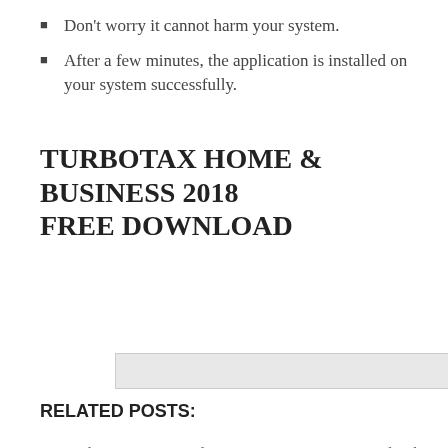Don't worry it cannot harm your system.
After a few minutes, the application is installed on your system successfully.
TURBOTAX HOME & BUSINESS 2018 FREE DOWNLOAD
[Figure (other): Gray placeholder image bar]
RELATED POSTS:
TurboTax Home and Business 2018 Free Download